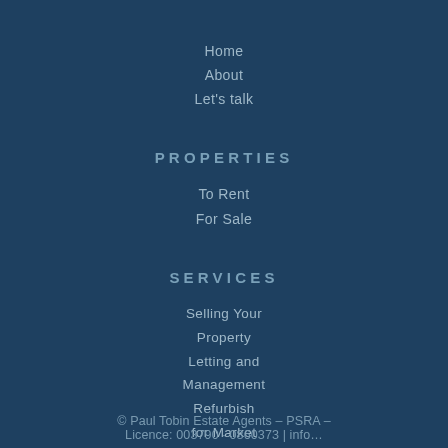Home
About
Let's talk
PROPERTIES
To Rent
For Sale
SERVICES
Selling Your Property
Letting and Management
Refurbish for Market
Blue Book
Residential Valuations
© Paul Tobin Estate Agents – PSRA – Licence: 003790 · 0860373 | info…